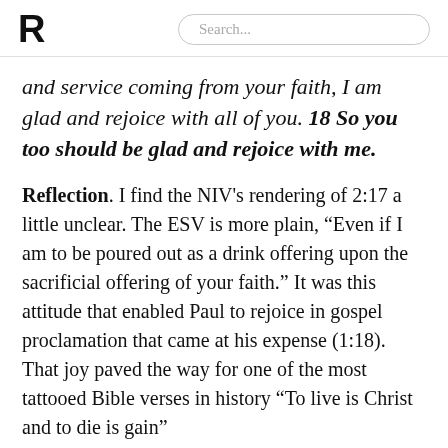R  Search...
and service coming from your faith, I am glad and rejoice with all of you. 18 So you too should be glad and rejoice with me.
Reflection. I find the NIV's rendering of 2:17 a little unclear. The ESV is more plain, “Even if I am to be poured out as a drink offering upon the sacrificial offering of your faith.” It was this attitude that enabled Paul to rejoice in gospel proclamation that came at his expense (1:18). That joy paved the way for one of the most tattooed Bible verses in history (“To live is Christ and to die is gain”)